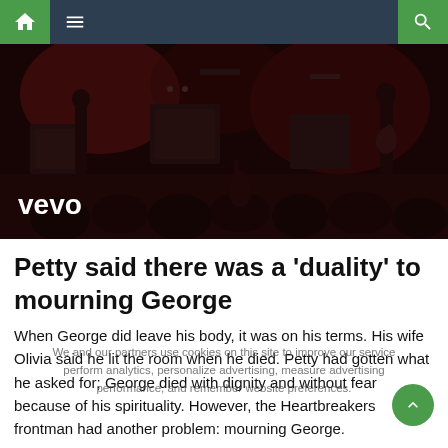Navigation bar with home, menu, and search icons
[Figure (photo): Concert/live performance photo with musicians on stage, dark atmosphere, crowd visible, Vevo logo overlay in bottom left]
Petty said there was a 'duality' to mourning George
When George did leave his body, it was on his terms. His wife Olivia said he lit the room when he died. Petty had gotten what he asked for; George died with dignity and without fear because of his spirituality. However, the Heartbreakers frontman had another problem: mourning George.
We and our partners use cookies on this site to improve our service perform analytics, personalize advertising, measure advertising performance, and remember website preferences.